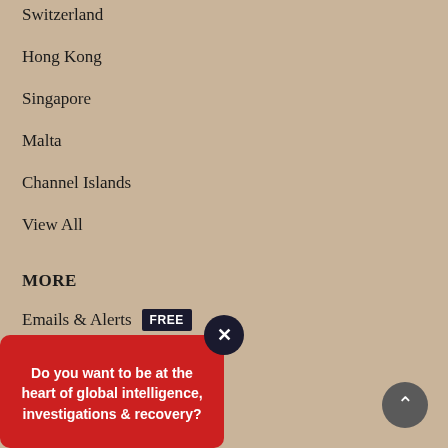Switzerland
Hong Kong
Singapore
Malta
Channel Islands
View All
MORE
Emails & Alerts FREE
Lost password
Company
Anti-Testimonials
Letters to the Editor
Do you want to be at the heart of global intelligence, investigations & recovery?